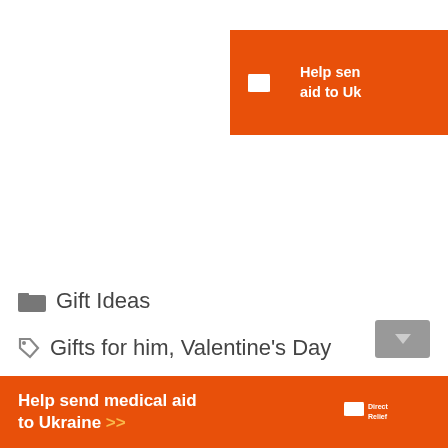[Figure (logo): Direct Relief orange advertisement banner in top-right corner (partially cropped): Direct Relief logo and text 'Help send medical aid to Ukraine']
Gift Ideas
Gifts for him, Valentine's Day
[Figure (logo): Direct Relief orange advertisement banner at bottom: 'Help send medical aid to Ukraine >>' with Direct Relief logo on the right]